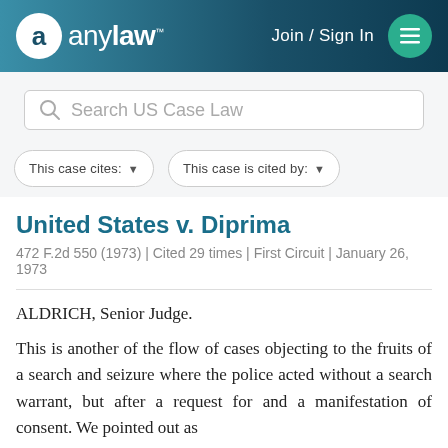anylaw — Join / Sign In
Search US Case Law
This case cites:
This case is cited by:
United States v. Diprima
472 F.2d 550 (1973) | Cited 29 times | First Circuit | January 26, 1973
ALDRICH, Senior Judge.
This is another of the flow of cases objecting to the fruits of a search and seizure where the police acted without a search warrant, but after a request for and a manifestation of consent. We pointed out as